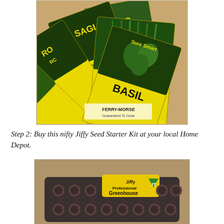[Figure (photo): A fan of yellow seed packets from Ferry-Morse brand, showing herb seeds including Parsley, Sage, Rosemary, Chives, and Basil, arranged on a tan surface with green plant imagery.]
Step 2: Buy this nifty Jiffy Seed Starter Kit at your local Home Depot.
[Figure (photo): A Jiffy Professional Greenhouse seed starter kit tray with round peat pellets arranged in rows, with yellow and green branded packaging visible.]